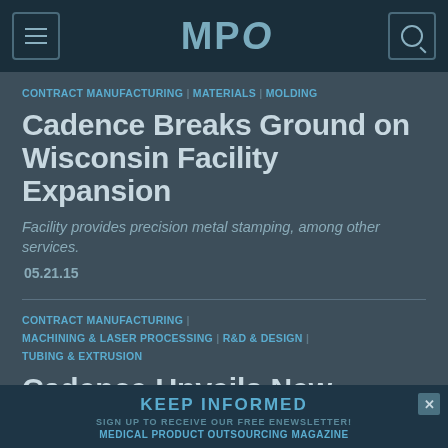MPO
CONTRACT MANUFACTURING | MATERIALS | MOLDING
Cadence Breaks Ground on Wisconsin Facility Expansion
Facility provides precision metal stamping, among other services.
05.21.15
CONTRACT MANUFACTURING | MACHINING & LASER PROCESSING | R&D & DESIGN | TUBING & EXTRUSION
Cadence Unveils New
KEEP INFORMED
SIGN UP TO RECEIVE OUR FREE ENEWSLETTER!
MEDICAL PRODUCT OUTSOURCING MAGAZINE